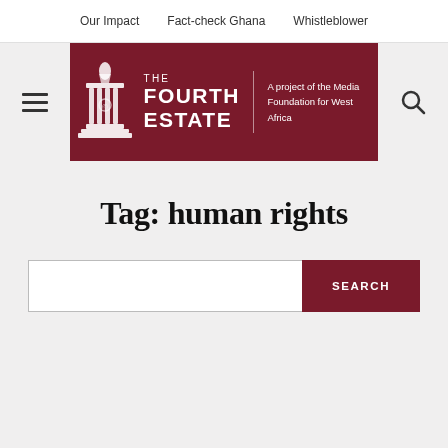Our Impact | Fact-check Ghana | Whistleblower
[Figure (logo): The Fourth Estate logo - A project of the Media Foundation for West Africa, white text on dark red background, with pillar icon]
Tag: human rights
SEARCH (search input field and button)